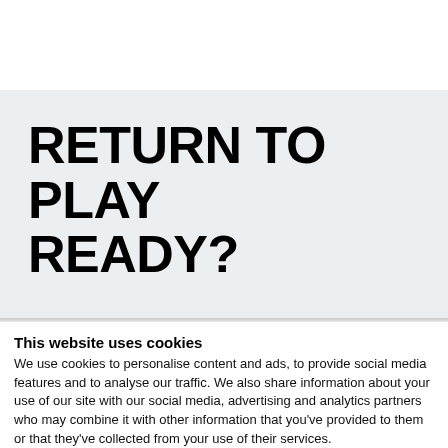RETURN TO PLAY READY?
This website uses cookies
We use cookies to personalise content and ads, to provide social media features and to analyse our traffic. We also share information about your use of our site with our social media, advertising and analytics partners who may combine it with other information that you've provided to them or that they've collected from your use of their services.
Allow all cookies